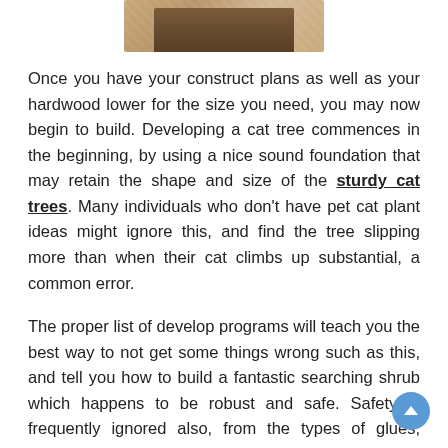[Figure (photo): Partial photo of a cat tree or wooden furniture on a herringbone wood floor, cropped at the top of the page]
Once you have your construct plans as well as your hardwood lower for the size you need, you may now begin to build. Developing a cat tree commences in the beginning, by using a nice sound foundation that may retain the shape and size of the sturdy cat trees. Many individuals who don't have pet cat plant ideas might ignore this, and find the tree slipping more than when their cat climbs up substantial, a common error.
The proper list of develop programs will teach you the best way to not get some things wrong such as this, and tell you how to build a fantastic searching shrub which happens to be robust and safe. Safety is frequently ignored also, from the types of glues, fingernails, screws and resources you might use in your build. I stated previously concerning the basic not being large enough,